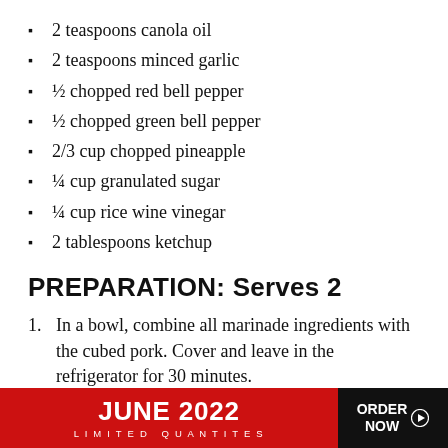2 teaspoons canola oil
2 teaspoons minced garlic
½ chopped red bell pepper
½ chopped green bell pepper
2/3 cup chopped pineapple
¼ cup granulated sugar
¼ cup rice wine vinegar
2 tablespoons ketchup
PREPARATION: Serves 2
In a bowl, combine all marinade ingredients with the cubed pork. Cover and leave in the refrigerator for 30 minutes.
JUNE 2022  LIMITED QUANTITES  ORDER NOW